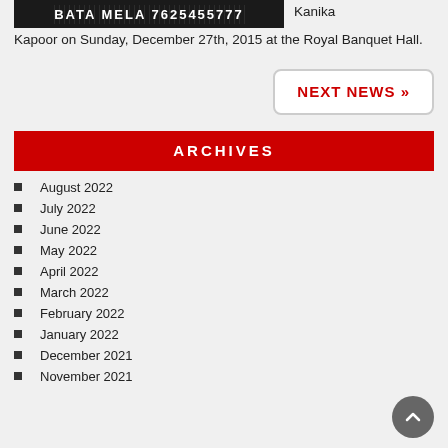[Figure (photo): Dark banner image with white bold text overlay, partially visible]
Kanika Kapoor on Sunday, December 27th, 2015 at the Royal Banquet Hall.
NEXT NEWS »
ARCHIVES
August 2022
July 2022
June 2022
May 2022
April 2022
March 2022
February 2022
January 2022
December 2021
November 2021